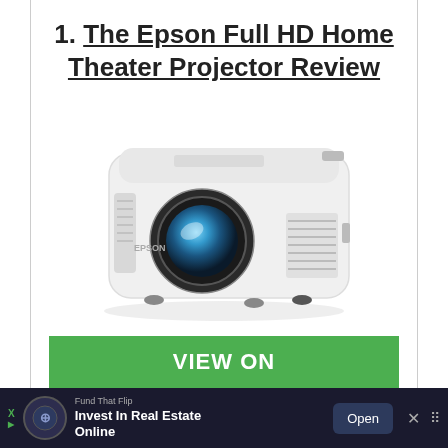1. The Epson Full HD Home Theater Projector Review
[Figure (photo): Photo of a white Epson home theater projector with a large lens, viewed from a front-left angle on a white background]
VIEW ON
[Figure (infographic): Advertisement bar: Fund That Flip — Invest In Real Estate Online, with Open button]